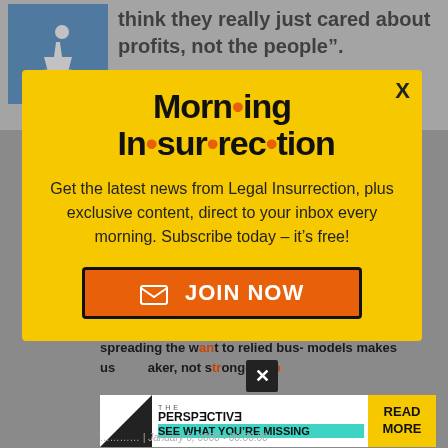think they really just cared about profits, not the people”.
This could be a positive for Romney, if he can counter that companies
[Figure (screenshot): Morning Insurrection newsletter popup modal with yellow background. Title reads 'Morning Insurrection' with orange dots between syllables. Body text: 'Get the latest news from Legal Insurrection, plus exclusive content, direct to your inbox every morning. Subscribe today – it’s free!' Orange JOIN NOW button with envelope icon. X close button in top right.]
spreading the want to relied bus- models makes us aker, not stronger.
[Figure (screenshot): The Perspective ad banner: 'SEE WHAT YOU’RE MISSING' with READ MORE button on yellow background.]